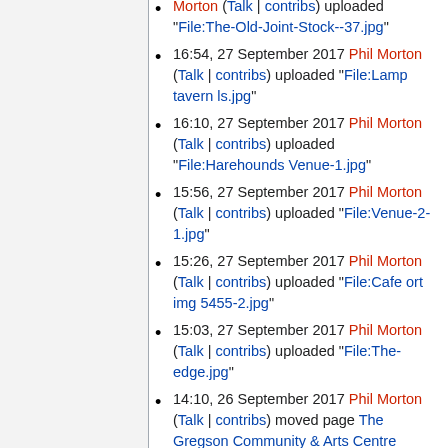Morton (Talk | contribs) uploaded "File:The-Old-Joint-Stock--37.jpg"
16:54, 27 September 2017 Phil Morton (Talk | contribs) uploaded "File:Lamp tavern ls.jpg"
16:10, 27 September 2017 Phil Morton (Talk | contribs) uploaded "File:Harehounds Venue-1.jpg"
15:56, 27 September 2017 Phil Morton (Talk | contribs) uploaded "File:Venue-2-1.jpg"
15:26, 27 September 2017 Phil Morton (Talk | contribs) uploaded "File:Cafe ort img 5455-2.jpg"
15:03, 27 September 2017 Phil Morton (Talk | contribs) uploaded "File:The-edge.jpg"
14:10, 26 September 2017 Phil Morton (Talk | contribs) moved page The Gregson Community & Arts Centre (Venues UK NW Engalnd) to